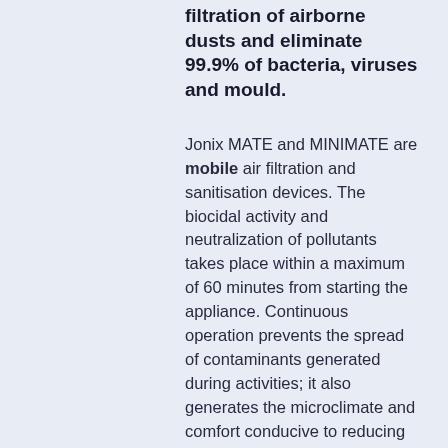filtration of airborne dusts and eliminate 99.9% of bacteria, viruses and mould.
Jonix MATE and MINIMATE are mobile air filtration and sanitisation devices. The biocidal activity and neutralization of pollutants takes place within a maximum of 60 minutes from starting the appliance. Continuous operation prevents the spread of contaminants generated during activities; it also generates the microclimate and comfort conducive to reducing work-related stress in the perspective of the protection and promotion of health in the workplace.